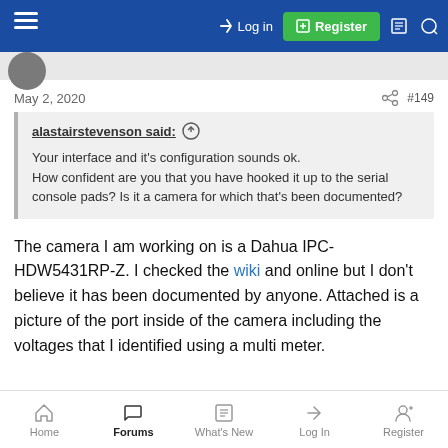Log in | Register
May 2, 2020  #149
alastairstevenson said: ↑

Your interface and it's configuration sounds ok.
How confident are you that you have hooked it up to the serial console pads? Is it a camera for which that's been documented?
The camera I am working on is a Dahua IPC-HDW5431RP-Z. I checked the wiki and online but I don't believe it has been documented by anyone. Attached is a picture of the port inside of the camera including the voltages that I identified using a multi meter.
Home  Forums  What's New  Log In  Register